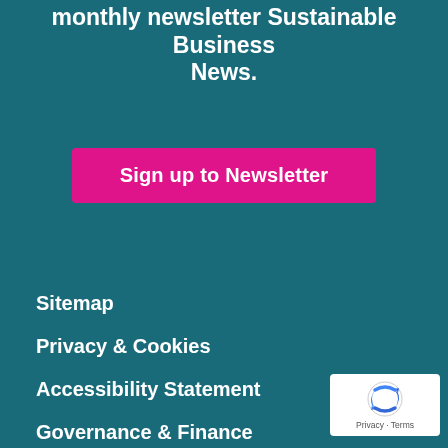monthly newsletter Sustainable Business News.
Sign up to Newsletter
Sitemap
Privacy & Cookies
Accessibility Statement
Governance & Finance
Contact Us
[Figure (logo): reCAPTCHA logo with Privacy and Terms text]